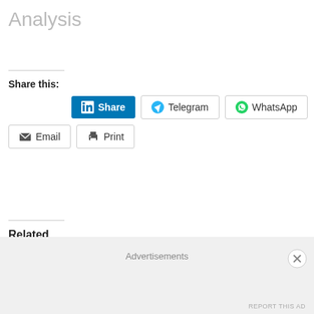Analysis
Share this:
[Figure (screenshot): Social share buttons: LinkedIn Share, Telegram, WhatsApp, Email, Print]
Related
Advertisements
REPORT THIS AD